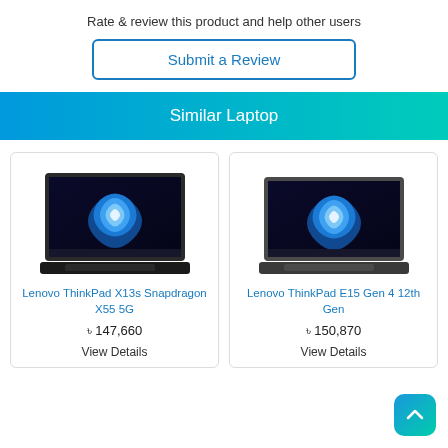Rate & review this product and help other users
Submit a Review
Similar Laptop
[Figure (photo): Lenovo ThinkPad X13s Snapdragon X55 5G laptop product image showing an open laptop with Windows 11 desktop on screen]
Lenovo ThinkPad X13s Snapdragon X55 5G
৳ 147,660
View Details
[Figure (photo): Lenovo ThinkPad E15 Gen 4 12th Gen laptop product image showing an open laptop with Windows 11 desktop on screen]
Lenovo ThinkPad E15 Gen 4 12th Gen
৳ 150,870
View Details